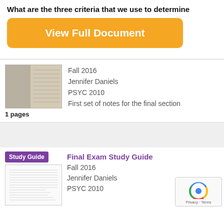What are the three criteria that we use to determine
[Figure (screenshot): Orange 'View Full Document' button]
[Figure (photo): Thumbnail of handwritten notes page]
1 pages
Fall 2016
Jennifer Daniels
PSYC 2010
First set of notes for the final section
[Figure (screenshot): Study Guide badge thumbnail with document preview]
Final Exam Study Guide
Fall 2016
Jennifer Daniels
PSYC 2010